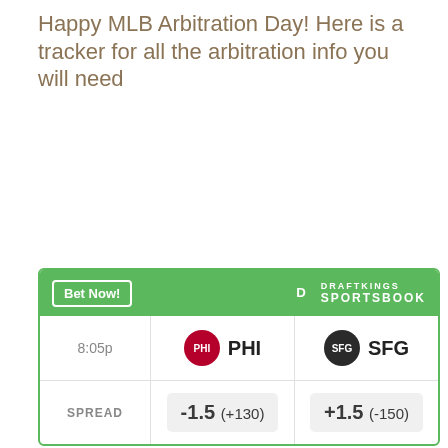Happy MLB Arbitration Day! Here is a tracker for all the arbitration info you will need
[Figure (other): DraftKings Sportsbook betting widget showing PHI vs SFG game at 8:05p with spread of -1.5 (+130) for PHI and +1.5 (-150) for SFG]